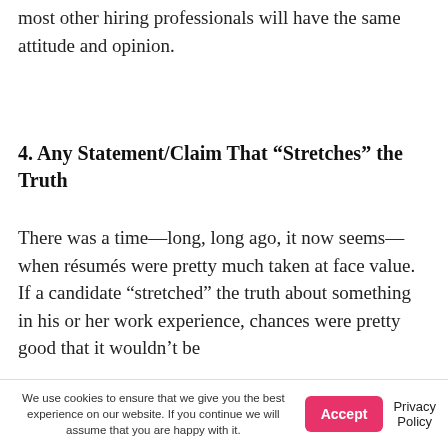most other hiring professionals will have the same attitude and opinion.
4. Any Statement/Claim That “Stretches” the Truth
There was a time—long, long ago, it now seems—when résumés were pretty much taken at face value. If a candidate “stretched” the truth about something in his or her work experience, chances were pretty good that it wouldn’t be
We use cookies to ensure that we give you the best experience on our website. If you continue we will assume that you are happy with it.